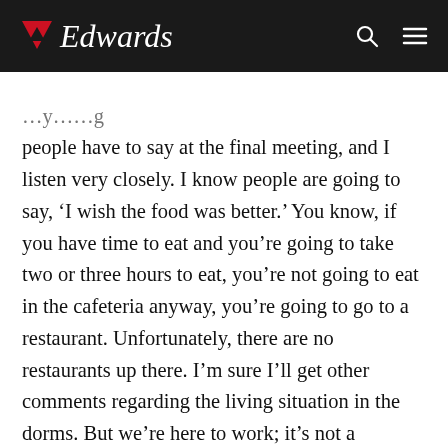Edwards
people have to say at the final meeting, and I listen very closely. I know people are going to say, ‘I wish the food was better.’ You know, if you have time to eat and you’re going to take two or three hours to eat, you’re not going to eat in the cafeteria anyway, you’re going to go to a restaurant. Unfortunately, there are no restaurants up there. I’m sure I’ll get other comments regarding the living situation in the dorms. But we’re here to work; it’s not a vacation. We’re here to think about the trombone and how to be better players.”